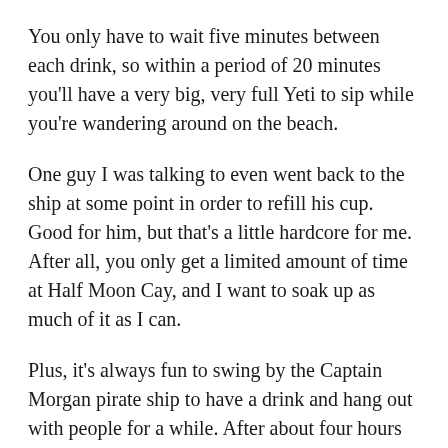You only have to wait five minutes between each drink, so within a period of 20 minutes you'll have a very big, very full Yeti to sip while you're wandering around on the beach.
One guy I was talking to even went back to the ship at some point in order to refill his cup. Good for him, but that's a little hardcore for me. After all, you only get a limited amount of time at Half Moon Cay, and I want to soak up as much of it as I can.
Plus, it's always fun to swing by the Captain Morgan pirate ship to have a drink and hang out with people for a while. After about four hours on the island, I headed back to the ship... the sun had finally won the battle!